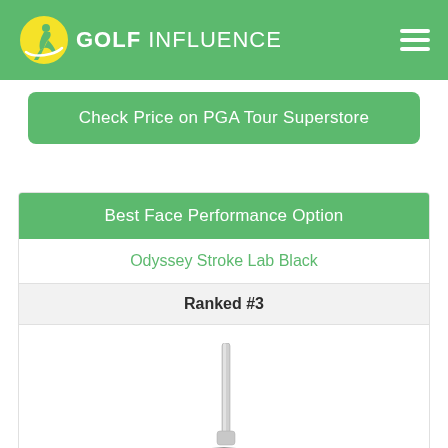GOLF INFLUENCE
Check Price on PGA Tour Superstore
Best Face Performance Option
Odyssey Stroke Lab Black
Ranked #3
[Figure (photo): Odyssey Stroke Lab Black putter shown from a top-angle perspective, black mallet-style head with white alignment lines and silver hosel/shaft.]